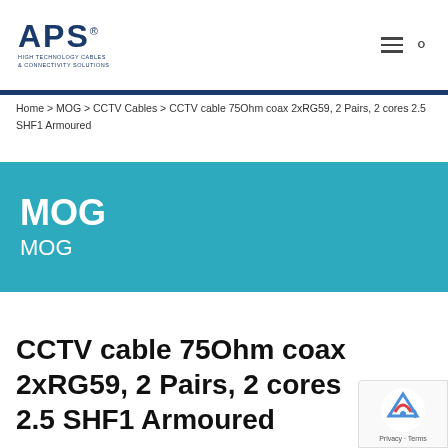APS HIGH TECHNOLOGY CABLES & CONNECTIVITY SOLUTIONS
Home > MOG > CCTV Cables > CCTV cable 75Ohm coax 2xRG59, 2 Pairs, 2 cores 2.5 SHF1 Armoured
MOG
MOG
CCTV cable 75Ohm coax 2xRG59, 2 Pairs, 2 cores 2.5 SHF1 Armoured